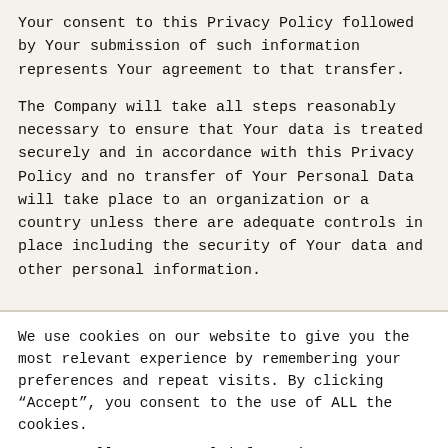Your consent to this Privacy Policy followed by Your submission of such information represents Your agreement to that transfer.
The Company will take all steps reasonably necessary to ensure that Your data is treated securely and in accordance with this Privacy Policy and no transfer of Your Personal Data will take place to an organization or a country unless there are adequate controls in place including the security of Your data and other personal information.
We use cookies on our website to give you the most relevant experience by remembering your preferences and repeat visits. By clicking “Accept”, you consent to the use of ALL the cookies.
Do not sell my personal information.